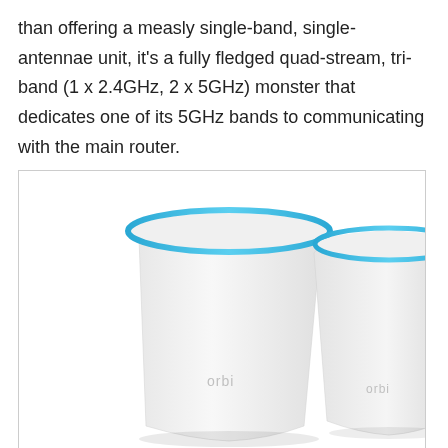than offering a measly single-band, single-antennae unit, it's a fully fledged quad-stream, tri-band (1 x 2.4GHz, 2 x 5GHz) monster that dedicates one of its 5GHz bands to communicating with the main router.
[Figure (photo): Two white Netgear Orbi mesh router/satellite units with blue LED ring light on top, the left unit slightly larger and in front, the right unit partially behind it. Both have the 'orbi' logo in light gray on the front. Photo on white background with light gray border.]